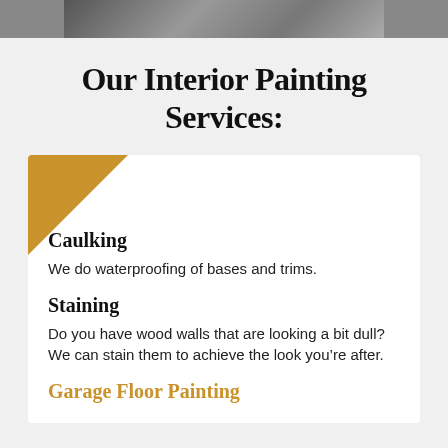[Figure (photo): Partial top of an image showing what appears to be people or objects, cropped at the top of the page]
Our Interior Painting Services:
Caulking
We do waterproofing of bases and trims.
Staining
Do you have wood walls that are looking a bit dull? We can stain them to achieve the look you’re after.
Garage Floor Painting